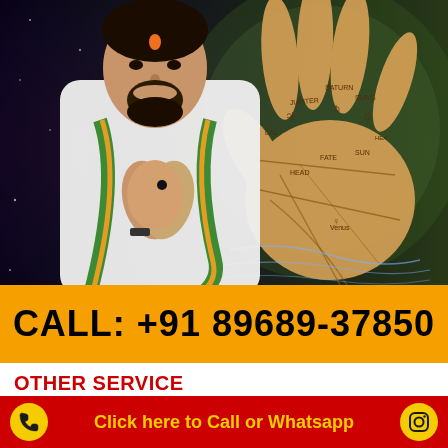[Figure (photo): A man in a white kurta with green and orange scarf, hands pressed together in a prayer/namaste gesture, with a tilak on forehead. Background shows a palmistry hand diagram with labeled lines (Head, Life, Fate, Heart, Sun) and planetary mounts (Jupiter, Saturn, Sun, Venus, Mercury) on a purple/green background.]
CALL:  +91 89689-37850
OTHER SERVICE
Lost Love Back Specialist in Ujjain
Click here to Call or Whatsapp